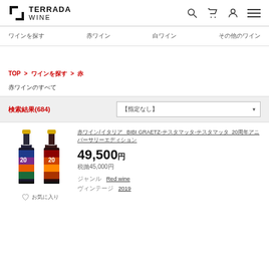TERRADA WINE
ワインを探す　赤ワイン　白ワイン　その他のワイン
TOP > ワインを探す > 赤
赤ワインのすべて
検索結果(684)
[Figure (photo): Two wine bottles with colorful labels featuring '20' and gold foil tops - BIBI GRAETZ product]
赤ワイン/イタリア　BIBI GRAETZ-テスタマッタ-テスタマッタ　20周年アニバーサリーエディション
49,500円
税抜45,000円
ジャンル　Red wine
ヴィンテージ　2019